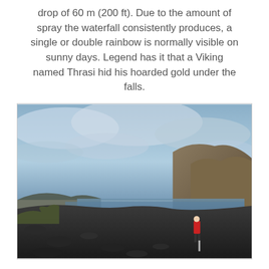drop of 60 m (200 ft). Due to the amount of spray the waterfall consistently produces, a single or double rainbow is normally visible on sunny days. Legend has it that a Viking named Thrasi hid his hoarded gold under the falls.
[Figure (photo): Outdoor landscape photo of a dark rocky beach with a person in a red jacket standing in the foreground, a body of water in the middle ground, and steep cliffs/hills on the right side under a cloudy blue-grey sky.]